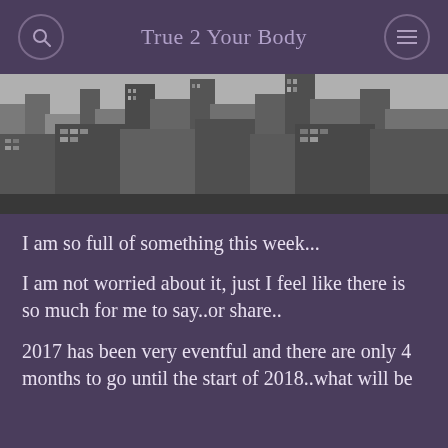True 2 Your Body
[Figure (photo): Black and white aerial photograph of a dense urban skyline with tall skyscrapers, likely New York City]
I am so full of something this week...
I am not worried about it, just I feel like there is so much for me to say..or share..
2017 has been very eventful and there are only 4 months to go until the start of 2018..what will be